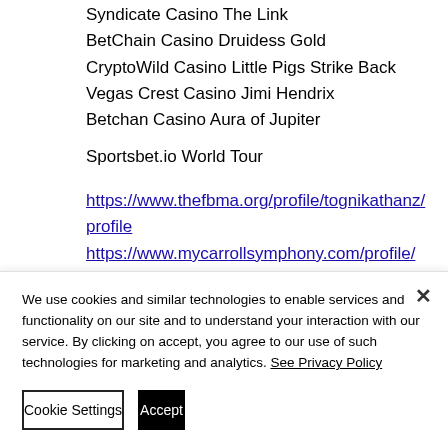Syndicate Casino The Link
BetChain Casino Druidess Gold
CryptoWild Casino Little Pigs Strike Back
Vegas Crest Casino Jimi Hendrix
Betchan Casino Aura of Jupiter
Sportsbet.io World Tour
https://www.thefbma.org/profile/tognikathanz/profile
https://www.mycarrollsymphony.com/profile/mcewengardinc/profile
https://www.pulsevodka.com/profile/bodnerrosoffa/profile
We use cookies and similar technologies to enable services and functionality on our site and to understand your interaction with our service. By clicking on accept, you agree to our use of such technologies for marketing and analytics. See Privacy Policy
Cookie Settings
Accept